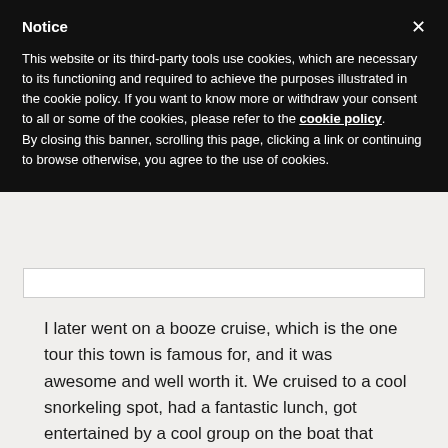Notice
This website or its third-party tools use cookies, which are necessary to its functioning and required to achieve the purposes illustrated in the cookie policy. If you want to know more or withdraw your consent to all or some of the cookies, please refer to the cookie policy.
By closing this banner, scrolling this page, clicking a link or continuing to browse otherwise, you agree to the use of cookies.
I later went on a booze cruise, which is the one tour this town is famous for, and it was awesome and well worth it. We cruised to a cool snorkeling spot, had a fantastic lunch, got entertained by a cool group on the boat that played Ob-la-di-bla-da by the Beatles , and they deposited us on a private beach with no peddlers and no punk kids.